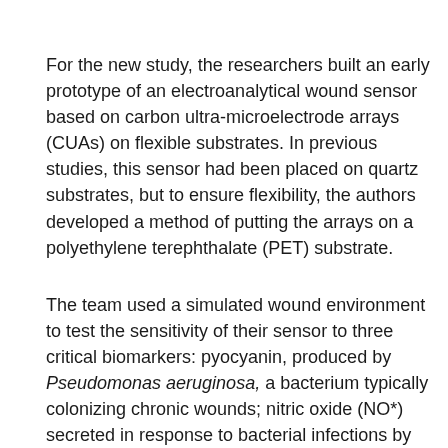For the new study, the researchers built an early prototype of an electroanalytical wound sensor based on carbon ultra-microelectrode arrays (CUAs) on flexible substrates. In previous studies, this sensor had been placed on quartz substrates, but to ensure flexibility, the authors developed a method of putting the arrays on a polyethylene terephthalate (PET) substrate.
The team used a simulated wound environment to test the sensitivity of their sensor to three critical biomarkers: pyocyanin, produced by Pseudomonas aeruginosa, a bacterium typically colonizing chronic wounds; nitric oxide (NO*) secreted in response to bacterial infections by cells of the immune system; and uric acid, a metabolite which